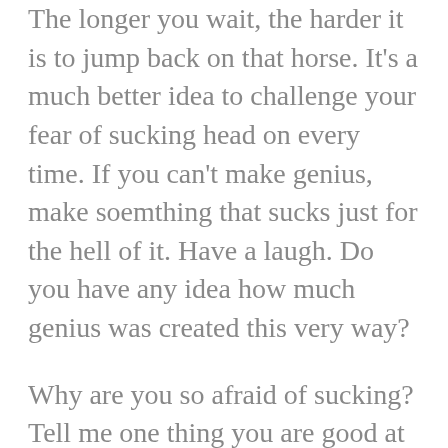The longer you wait, the harder it is to jump back on that horse. It's a much better idea to challenge your fear of sucking head on every time. If you can't make genius, make soemthing that sucks just for the hell of it. Have a laugh. Do you have any idea how much genius was created this very way?
Why are you so afraid of sucking? Tell me one thing you are good at now that you weren't worse at when you started? Everyone who has created genius has a lot of suck in their closets that you haven't heard. Don't sweat it. Your job it to choose which of your creations are